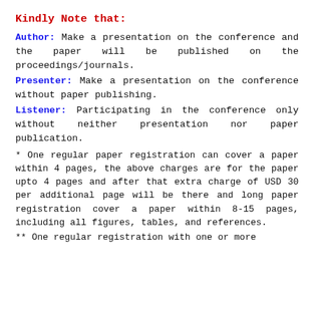Kindly Note that:
Author: Make a presentation on the conference and the paper will be published on the proceedings/journals.
Presenter: Make a presentation on the conference without paper publishing.
Listener: Participating in the conference only without neither presentation nor paper publication.
* One regular paper registration can cover a paper within 4 pages, the above charges are for the paper upto 4 pages and after that extra charge of USD 30 per additional page will be there and long paper registration cover a paper within 8-15 pages, including all figures, tables, and references.
** One regular registration with one or more